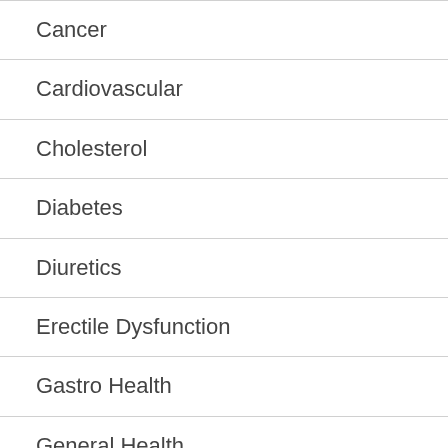Cancer
Cardiovascular
Cholesterol
Diabetes
Diuretics
Erectile Dysfunction
Gastro Health
General Health
Hair Loss